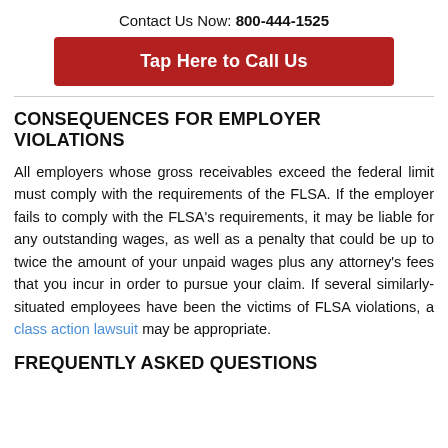Contact Us Now: 800-444-1525
[Figure (other): Red button reading 'Tap Here to Call Us']
CONSEQUENCES FOR EMPLOYER VIOLATIONS
All employers whose gross receivables exceed the federal limit must comply with the requirements of the FLSA. If the employer fails to comply with the FLSA's requirements, it may be liable for any outstanding wages, as well as a penalty that could be up to twice the amount of your unpaid wages plus any attorney's fees that you incur in order to pursue your claim. If several similarly-situated employees have been the victims of FLSA violations, a class action lawsuit may be appropriate.
FREQUENTLY ASKED QUESTIONS